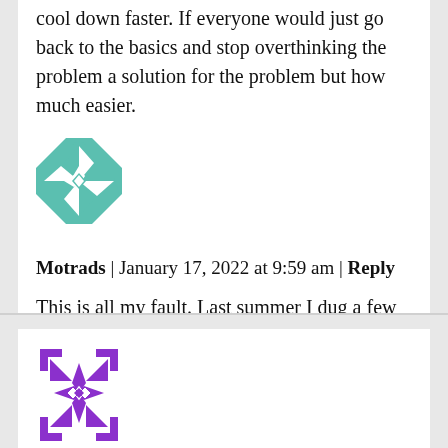cool down faster. If everyone would just go back to the basics and stop overthinking the problem a solution for the problem but how much easier.
[Figure (illustration): Teal/green decorative quilt-pattern avatar icon]
Motrads | January 17, 2022 at 9:59 am | Reply
This is all my fault. Last summer I dug a few hundred fence post holes for a new cattle pasture, Sorry!
[Figure (illustration): Purple decorative star/quilt-pattern avatar icon]